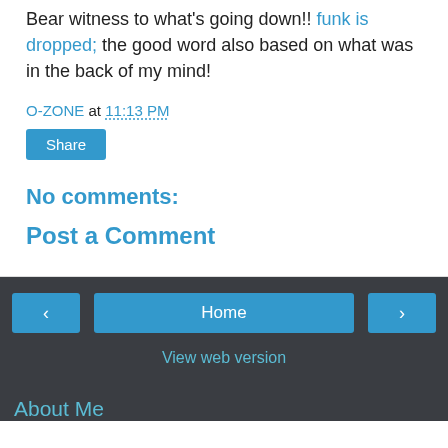Bear witness to what's going down!! funk is dropped; the good word also based on what was in the back of my mind!
O-ZONE at 11:13 PM
Share
No comments:
Post a Comment
‹  Home  ›  View web version  About Me